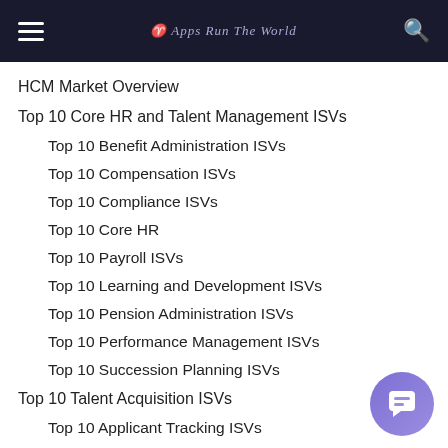Apps Run The World
HCM Market Overview
Top 10 Core HR and Talent Management ISVs
Top 10 Benefit Administration ISVs
Top 10 Compensation ISVs
Top 10 Compliance ISVs
Top 10 Core HR
Top 10 Payroll ISVs
Top 10 Learning and Development ISVs
Top 10 Pension Administration ISVs
Top 10 Performance Management ISVs
Top 10 Succession Planning ISVs
Top 10 Talent Acquisition ISVs
Top 10 Applicant Tracking ISVs